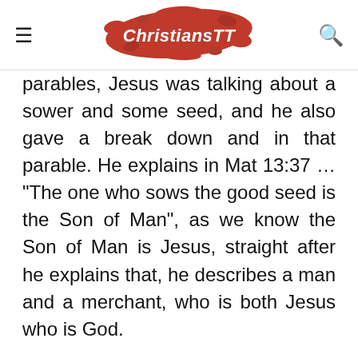ChristiansTT
parables, Jesus was talking about a sower and some seed, and he also gave a break down and in that parable. He explains in Mat 13:37 … “The one who sows the good seed is the Son of Man”, as we know the Son of Man is Jesus, straight after he explains that, he describes a man and a merchant, who is both Jesus who is God.
So let’s put this together…